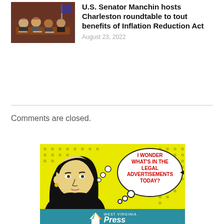[Figure (photo): Photo of people seated at a roundtable meeting in a formal room]
U.S. Senator Manchin hosts Charleston roundtable to tout benefits of Inflation Reduction Act
August 23, 2022
Comments are closed.
[Figure (illustration): Comic-style illustration of a woman with thought bubble reading 'I WONDER WHAT'S IN THE LEGAL ADVERTISEMENTS TODAY?' with West Virginia Press logo below]